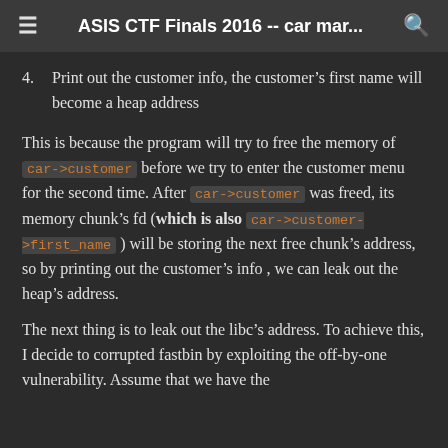ASIS CTF Finals 2016 -- car mar...
4. Print out the customer info, the customer's first name will become a heap address
This is because the program will try to free the memory of car->customer before we try to enter the customer menu for the second time. After car->customer was freed, its memory chunk's fd (which is also car->customer->first_name ) will be storing the next free chunk's address, so by printing out the customer's info , we can leak out the heap's address.
The next thing is to leak out the libc's address. To achieve this, I decide to corrupted fastbin by exploiting the off-by-one vulnerability. Assume that we have the